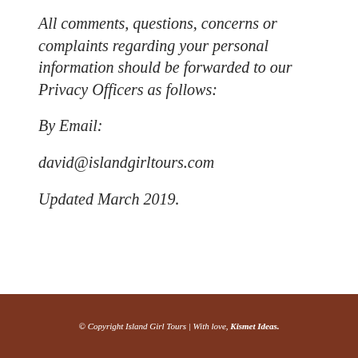All comments, questions, concerns or complaints regarding your personal information should be forwarded to our Privacy Officers as follows:
By Email:
david@islandgirltours.com
Updated March 2019.
© Copyright Island Girl Tours | With love, Kismet Ideas.